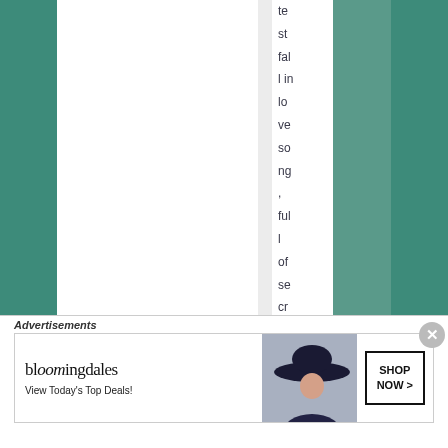test fall in love song, full of secret gazes
Advertisements
[Figure (illustration): Bloomingdales advertisement banner showing logo, 'View Today's Top Deals!' tagline, a woman wearing a large hat, and a 'SHOP NOW >' button]